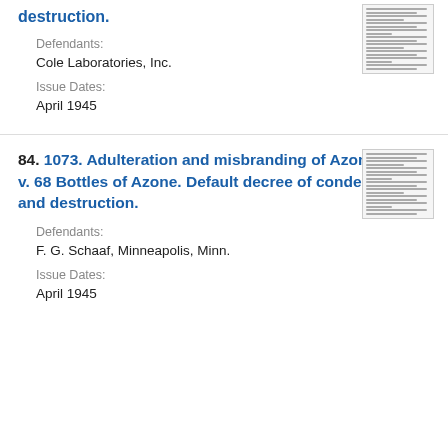destruction.
Defendants:
Cole Laboratories, Inc.
Issue Dates:
April 1945
84. 1073. Adulteration and misbranding of Azone. U. S. v. 68 Bottles of Azone. Default decree of condemnation and destruction.
Defendants:
F. G. Schaaf, Minneapolis, Minn.
Issue Dates:
April 1945